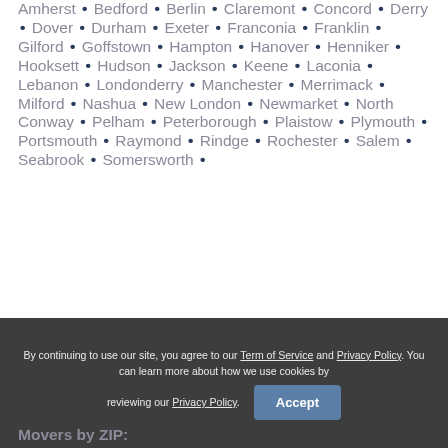Amherst • Bedford • Berlin • Claremont • Concord • Derry • Dover • Durham • Exeter • Franconia • Franklin • Gilford • Goffstown • Hampton • Hanover • Henniker • Hooksett • Hudson • Jackson • Keene • Laconia • Lebanon • Londonderry • Manchester • Merrimack • Milford • Nashua • New London • Newmarket • North Conway • Pelham • Peterborough • Plaistow • Plymouth • Portsmouth • Raymond • Rindge • Rochester • Salem • Seabrook • Somersworth •
By continuing to use our site, you agree to our Term of Service and Privacy Policy. You can learn more about how we use cookies by reviewing our Privacy Policy.
Accept
Movers by ZIP: